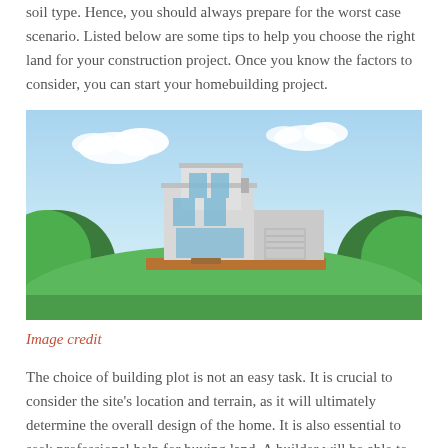soil type. Hence, you should always prepare for the worst case scenario. Listed below are some tips to help you choose the right land for your construction project. Once you know the factors to consider, you can start your homebuilding project.
[Figure (photo): A modern white flat-roofed house with large windows, situated on a green grassy hill with trees in the background under a blue sky with clouds.]
Image credit
The choice of building plot is not an easy task. It is crucial to consider the site's location and terrain, as it will ultimately determine the overall design of the home. It is also essential to seek professional help for buying land. A builder will be able to assess the potential of a unique